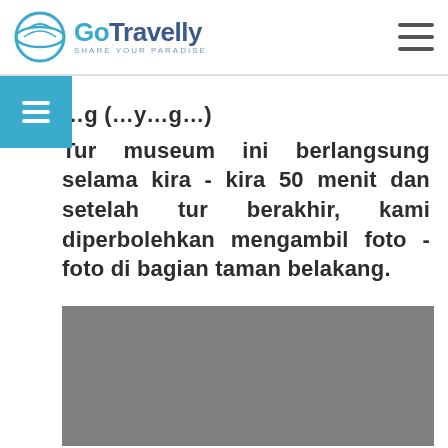GoTravelly — SHARE YOUR PARADISE
Tur museum ini berlangsung selama kira - kira 50 menit dan setelah tur berakhir, kami diperbolehkan mengambil foto - foto di bagian taman belakang.
[Figure (photo): A photograph, shown as a grey placeholder rectangle, depicting a garden or outdoor scene at the back of the museum.]